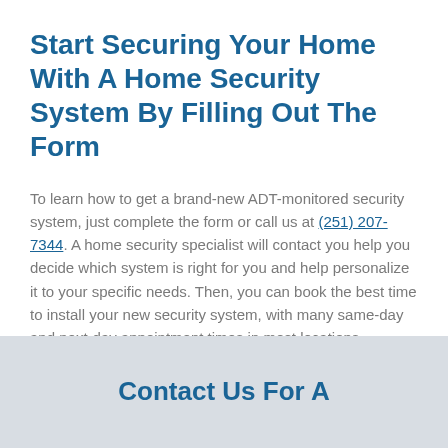Start Securing Your Home With A Home Security System By Filling Out The Form
To learn how to get a brand-new ADT-monitored security system, just complete the form or call us at (251) 207-7344. A home security specialist will contact you help you decide which system is right for you and help personalize it to your specific needs. Then, you can book the best time to install your new security system, with many same-day and next-day appointment times in most locations.
Contact Us For A